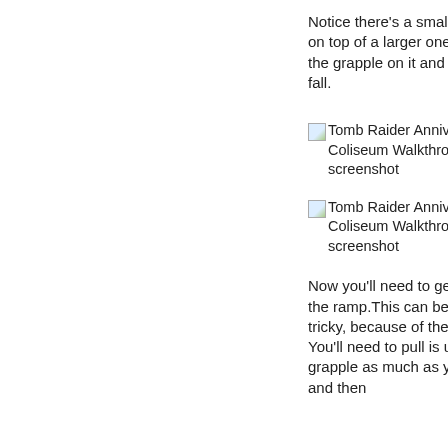Notice there's a small cage on top of a larger one. Use the grapple on it and it will fall.
[Figure (screenshot): Tomb Raider Anniversary - Coliseum Walkthrough screenshot]
[Figure (screenshot): Tomb Raider Anniversary - Coliseum Walkthrough screenshot]
Now you'll need to get it over the ramp.This can be quite tricky, because of the gravity. You'll need to pull is using the grapple as much as you can and then